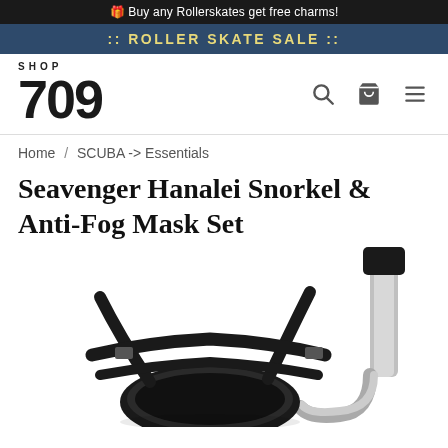🎁 Buy any Rollerskates get free charms!
:: ROLLER SKATE SALE ::
SHOP 709
Home / SCUBA -> Essentials
Seavenger Hanalei Snorkel & Anti-Fog Mask Set
[Figure (photo): Product photo of a Seavenger Hanalei snorkel and anti-fog mask set showing black straps of the mask and the snorkel tube against a white background, partially cropped at bottom]